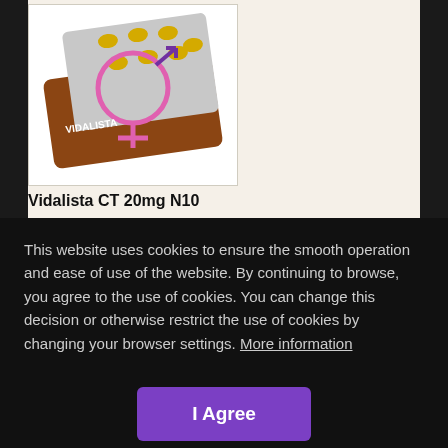[Figure (photo): Vidalista CT 20mg N10 blister pack with yellow pills and decorative pink/purple gender symbol overlay on a brown card packaging]
Vidalista CT 20mg N10
This website uses cookies to ensure the smooth operation and ease of use of the website. By continuing to browse, you agree to the use of cookies. You can change this decision or otherwise restrict the use of cookies by changing your browser settings. More information
I Agree